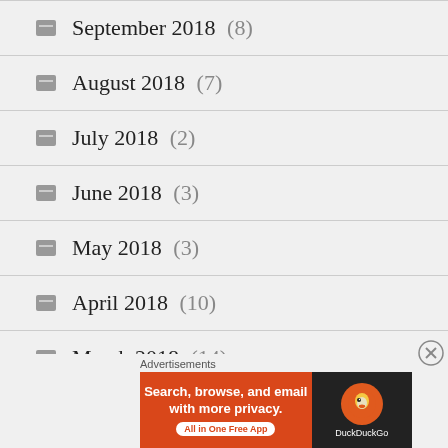September 2018 (8)
August 2018 (7)
July 2018 (2)
June 2018 (3)
May 2018 (3)
April 2018 (10)
March 2018 (14)
February 2018 (8)
[Figure (screenshot): DuckDuckGo advertisement banner: orange left section with text 'Search, browse, and email with more privacy. All in One Free App' and dark right section with DuckDuckGo logo]
Advertisements